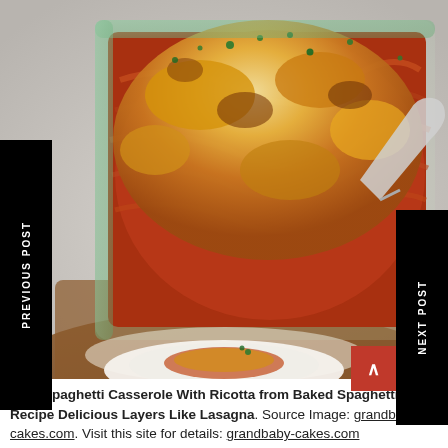[Figure (photo): A baked spaghetti casserole in a glass baking dish, with golden cheesy top and partially scooped out portion, placed on a wooden board with cloth underneath. Below is a partial view of a white plate with a serving of the casserole.]
PREVIOUS POST
NEXT POST
Best Spaghetti Casserole With Ricotta from Baked Spaghetti Recipe Delicious Layers Like Lasagna. Source Image: grandbaby-cakes.com. Visit this site for details: grandbaby-cakes.com